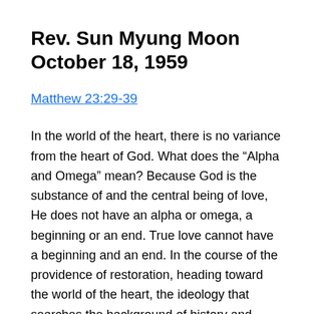Rev. Sun Myung Moon October 18, 1959
Matthew 23:29-39
In the world of the heart, there is no variance from the heart of God. What does the “Alpha and Omega” mean? Because God is the substance of and the central being of love, He does not have an alpha or omega, a beginning or an end. True love cannot have a beginning and an end. In the course of the providence of restoration, heading toward the world of the heart, the ideology that searches the background of history and shouts, “God’s heart is hidden here. Oh! This is the path that our race must